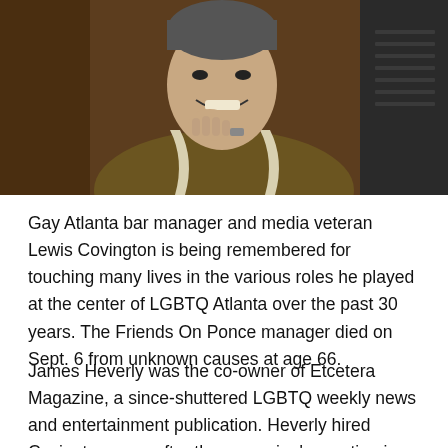[Figure (photo): A smiling middle-aged man in a brown striped athletic jacket, sitting in a brown leather chair, resting his chin on his hand, with a keyboard visible in the background.]
Gay Atlanta bar manager and media veteran Lewis Covington is being remembered for touching many lives in the various roles he played at the center of LGBTQ Atlanta over the past 30 years. The Friends On Ponce manager died on Sept. 6 from unknown causes at age 66.
James Heverly was the co-owner of Etcetera Magazine, a since-shuttered LGBTQ weekly news and entertainment publication. Heverly hired Covington soon after the magazine's creation in 1985. Heverly said Covington quickly came from the news cluster to the cut de rest transition